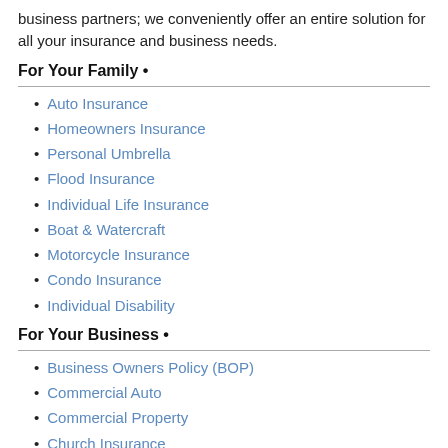business partners; we conveniently offer an entire solution for all your insurance and business needs.
For Your Family •
Auto Insurance
Homeowners Insurance
Personal Umbrella
Flood Insurance
Individual Life Insurance
Boat & Watercraft
Motorcycle Insurance
Condo Insurance
Individual Disability
For Your Business •
Business Owners Policy (BOP)
Commercial Auto
Commercial Property
Church Insurance
Contractors
Builders Risk